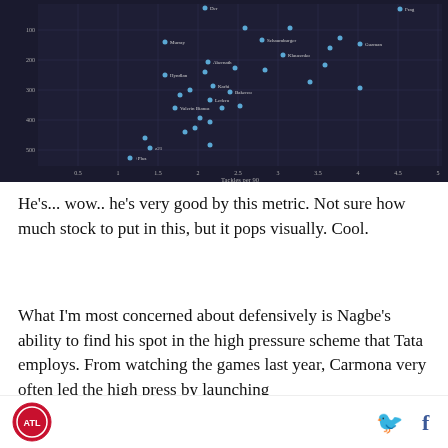[Figure (continuous-plot): Scatter plot on dark background showing player data points (labeled with names) plotted against tackles per 90 (x-axis) and field invasion rate or similar defensive metric (y-axis). Points are light blue dots with small white text labels. Grid lines visible. Axes labeled but text is small.]
He's... wow.. he's very good by this metric. Not sure how much stock to put in this, but it pops visually. Cool.
What I'm most concerned about defensively is Nagbe's ability to find his spot in the high pressure scheme that Tata employs. From watching the games last year, Carmona very often led the high press by launching